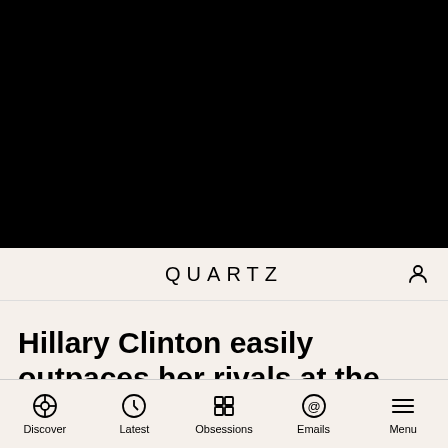[Figure (photo): Black image area representing a video or photo placeholder at the top of the page]
QUARTZ
Hillary Clinton easily outpaces her rivals at the first Democratic debate
Discover  Latest  Obsessions  Emails  Menu